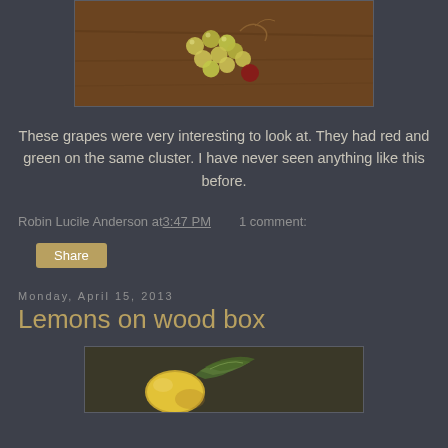[Figure (photo): Close-up photograph of a cluster of grapes with both red and green grapes on the same cluster, arranged on a wooden surface]
These grapes were very interesting to look at.  They had red and green on the same cluster.  I have never seen anything like this before.
Robin Lucile Anderson at 3:47 PM    1 comment:
Share
Monday, April 15, 2013
Lemons on wood box
[Figure (photo): Partial view of a painting or photograph showing lemons with green leaves on a dark background]